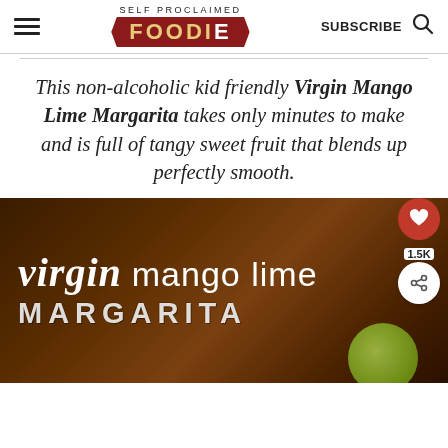SELF PROCLAIMED FOODIE — SUBSCRIBE
This non-alcoholic kid friendly Virgin Mango Lime Margarita takes only minutes to make and is full of tangy sweet fruit that blends up perfectly smooth.
[Figure (photo): Food blog image with dark brown background showing text 'virgin mango lime MARGARITA' in stylized lettering with a lime visible at the right edge. Floating heart and share buttons with 1.5K count overlay on the right side.]